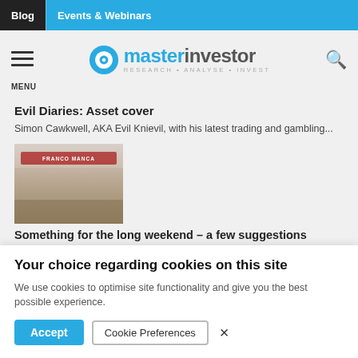Blog | Events & Webinars
[Figure (logo): Master Investor logo with circular icon and tagline RESEARCH · ANALYSE · INVEST]
Evil Diaries: Asset cover
Simon Cawkwell, AKA Evil Knievil, with his latest trading and gambling...
[Figure (photo): Storefront photo of Franco Manca restaurant]
Something for the long weekend – a few suggestions
Your choice regarding cookies on this site
We use cookies to optimise site functionality and give you the best possible experience.
Accept | Cookie Preferences | ×